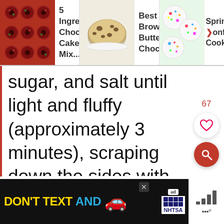[Figure (screenshot): Top navigation bar with three recipe cards: '5 Ingredient Chocolate Cake Mix...', 'Best Ever Brown Butter Chocolate...', and 'Sprinkle Conf... Cookies']
sugar, and salt until light and fluffy (approximately 3 minutes), scraping down the sides with a rubber spatula as needed. Add the eggs, vanilla extract, and almond extract and beat for an additional 2 minutes. With the mixer on low, slowly add the dry ingredients and mix until just combined. Using a wooden
[Figure (screenshot): Advertisement banner: DON'T TEXT AND [car emoji] with ad tag and NHTSA logo]
[Figure (screenshot): Weather widget showing signal bars and temperature in degrees]